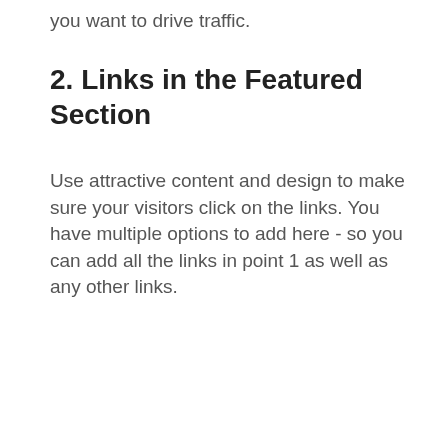you want to drive traffic.
2. Links in the Featured Section
Use attractive content and design to make sure your visitors click on the links. You have multiple options to add here - so you can add all the links in point 1 as well as any other links.
Featured
[Figure (screenshot): Featured section UI showing two cards: one for Free SEO Audit and one for The Ultimate Email Marketing Guide. Shows 'See all' navigation with arrows.]